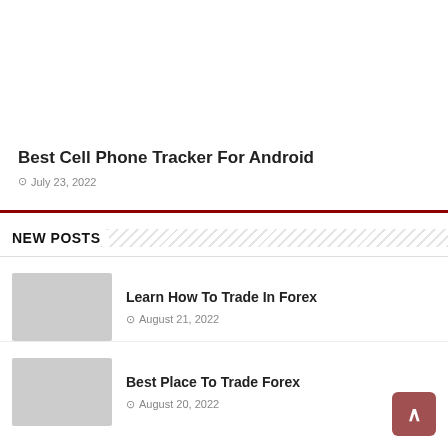[Figure (screenshot): Screenshot of a child phone tracker app page showing Google Play and App Store buttons, with a hand holding a smartphone displaying a map with GPS tracking]
Best Cell Phone Tracker For Android
⊙ July 23, 2022
NEW POSTS
Learn How To Trade In Forex — ⊙ August 21, 2022
Best Place To Trade Forex — ⊙ August 20, 2022